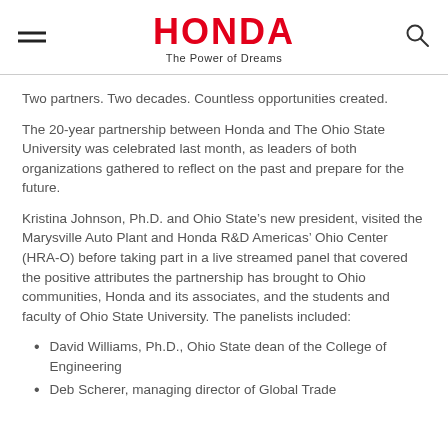HONDA – The Power of Dreams
Two partners. Two decades. Countless opportunities created.
The 20-year partnership between Honda and The Ohio State University was celebrated last month, as leaders of both organizations gathered to reflect on the past and prepare for the future.
Kristina Johnson, Ph.D. and Ohio State’s new president, visited the Marysville Auto Plant and Honda R&D Americas’ Ohio Center (HRA-O) before taking part in a live streamed panel that covered the positive attributes the partnership has brought to Ohio communities, Honda and its associates, and the students and faculty of Ohio State University. The panelists included:
David Williams, Ph.D., Ohio State dean of the College of Engineering
Deb Scherer, managing director of Global Trade